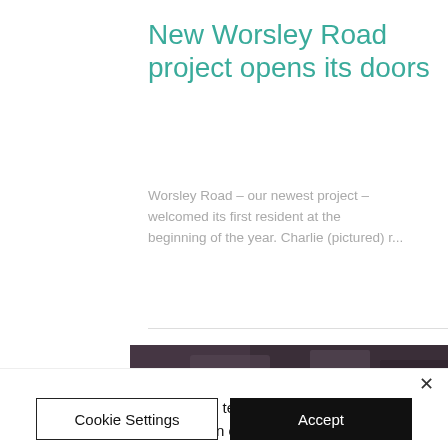New Worsley Road project opens its doors
Worsley Road – our newest project – welcomed its first resident at the beginning of the year. Charlie (pictured) r...
[Figure (photo): Partial image strip showing dark stone/mineral texture on left and golden/yellow texture on right]
We use cookies and similar technologies to enable services and functionality on our site and to understand your interaction with our service. By clicking on accept, you agree to our use of such technologies for marketing and analytics. See Privacy Policy
Cookie Settings
Accept